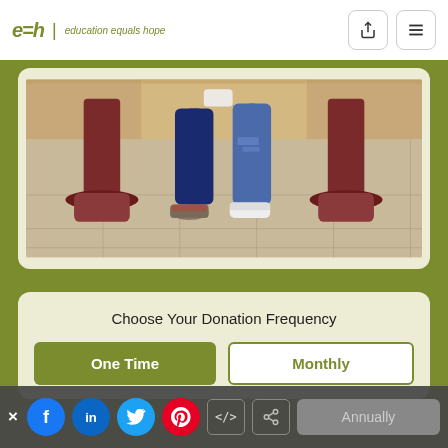e=h | education equals hope
[Figure (photo): Two people standing on a tiled floor, partially cropped showing legs and shoes, with dark red pedestal stands visible on either side]
Choose Your Donation Frequency
One Time
Monthly
Annually